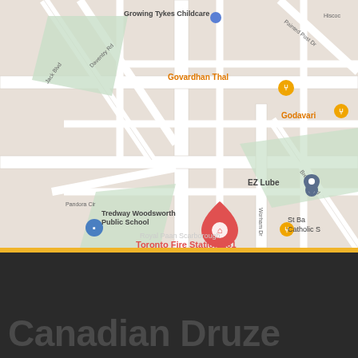[Figure (map): Google Maps screenshot showing area around Toronto Fire Station 231 in Scarborough, Ontario. Visible landmarks include Growing Tykes Childcare, Govardhan Thal restaurant, Godavari restaurant, EZ Lube, Tredway Woodsworth Public School, Toronto Fire Station 231 (highlighted in red), and Royal Paan Scarborough. Streets visible include Daventry Rd, Jack Blvd, Pandora Cir, Worham Dr, Brewton Rd, Painted Post Dr, Hiscoc (partial).]
Canadian Druze